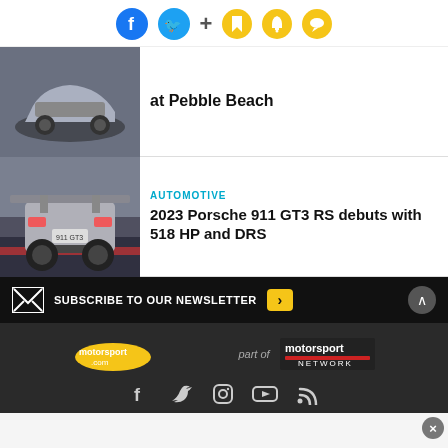Social sharing icons: Facebook, Twitter, Plus, Bookmark, Bell, Chat
[Figure (photo): Rear quarter view of a silver supercar at Pebble Beach, dark background]
at Pebble Beach
[Figure (photo): Rear view of 2023 Porsche 911 GT3 RS on a racetrack with large rear wing, silver color]
AUTOMOTIVE
2023 Porsche 911 GT3 RS debuts with 518 HP and DRS
SUBSCRIBE TO OUR NEWSLETTER
[Figure (logo): motorsport.com logo with yellow oval, part of Motorsport Network logo]
[Figure (infographic): Social media icons: Facebook, Twitter, Instagram, YouTube, RSS feed]